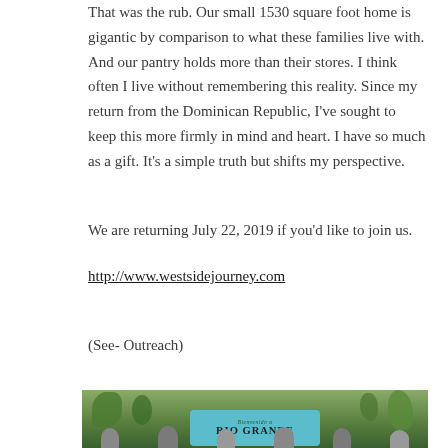That was the rub.  Our small 1530 square foot home is gigantic by comparison to what these families live with.  And our pantry holds more than their stores.  I think often I live without remembering this reality.  Since my return from the Dominican Republic, I've sought to keep this more firmly in mind and heart.  I have so much as a gift. It's a simple truth but shifts my perspective.
We are returning July 22, 2019 if you'd like to join us.
http://www.westsidejourney.com
(See- Outreach)
[Figure (photo): Group of people standing in front of a 'Bienvenido a Rio Grande' welcome sign surrounded by green tropical vegetation.]